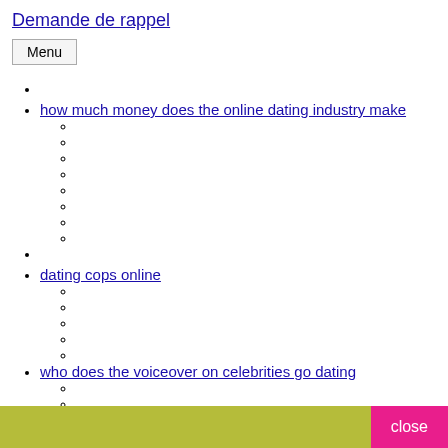Demande de rappel
Menu
how much money does the online dating industry make
dating cops online
who does the voiceover on celebrities go dating
close